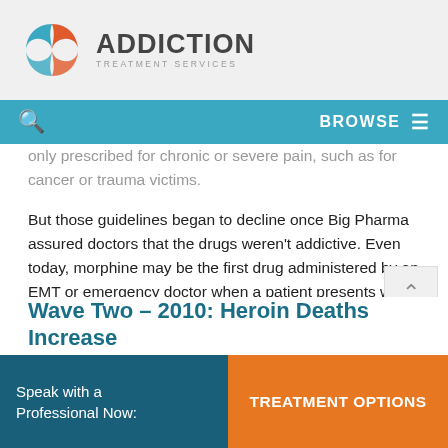Addiction Treatment Services
only prescribed for chronic or severe pain, such as for cancer or trauma victims.
But those guidelines began to decline once Big Pharma assured doctors that the drugs weren’t addictive. Even today, morphine may be the first drug administered by an EMT or emergency doctor when a patient presents with severe pain.
In this first wave, by 1999, 86 percent of people using opioid medication were using them for non-cancer related pain management.
Wave Two – 2010: Heroin Deaths Increase
Speak with a Professional Now: TREATMENT OPTIONS